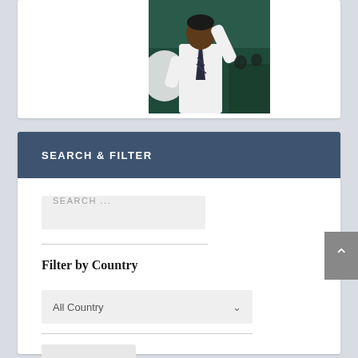[Figure (photo): A man in a white dress shirt and tie waving, photographed from the waist up against a dark green background.]
SEARCH & FILTER
SEARCH ...
Filter by Country
All Country
SUBMIT